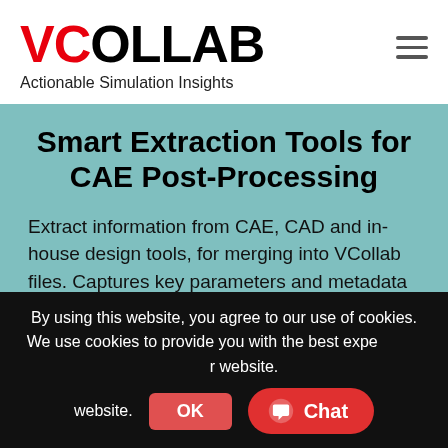[Figure (logo): VCOLLAB logo with red VC and black OLLAB text, tagline 'Actionable Simulation Insights']
Smart Extraction Tools for CAE Post-Processing
Extract information from CAE, CAD and in-house design tools, for merging into VCollab files. Captures key parameters and metadata from native CAE files, retains assembly structures, parts lists and names from CAD geometry, reduces file sizes, and automates key processes.
By using this website, you agree to our use of cookies. We use cookies to provide you with the best experience on our website.